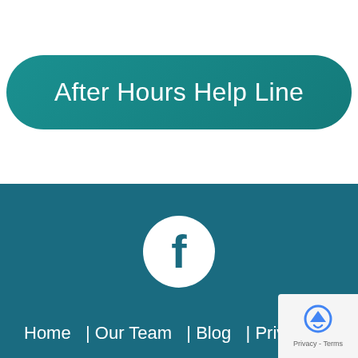[Figure (other): Teal rounded button with white text reading 'After Hours Help Line']
[Figure (logo): Facebook logo icon — white circle with dark teal lowercase 'f' on dark teal background]
Home  | Our Team  | Blog  | Privacy Policy  | C